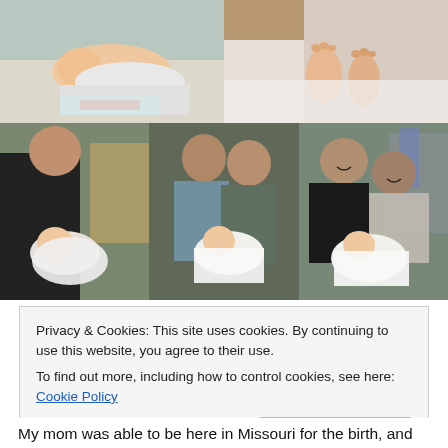[Figure (photo): Top-left: newborn baby lying on hospital surface with white blanket]
[Figure (photo): Top-right: close-up of newborn baby's feet wrapped in white blanket]
[Figure (photo): Bottom-left: man in black shirt holding newborn baby in hospital room]
[Figure (photo): Bottom-middle: couple leaning over looking at newborn baby]
[Figure (photo): Bottom-right: smiling couple holding newborn baby in hospital room]
Privacy & Cookies: This site uses cookies. By continuing to use this website, you agree to their use.
To find out more, including how to control cookies, see here: Cookie Policy
Close and accept
My mom was able to be here in Missouri for the birth, and